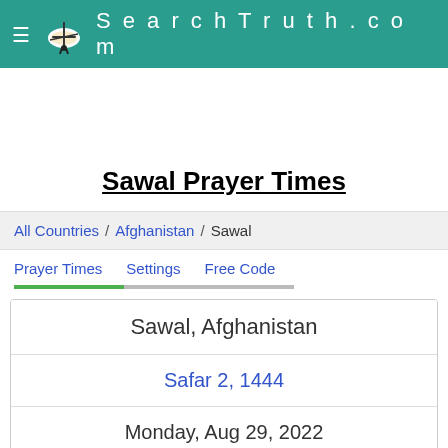SearchTruth.com
Sawal Prayer Times
All Countries / Afghanistan / Sawal
Prayer Times   Settings   Free Code
Sawal, Afghanistan
Safar 2, 1444
Monday, Aug 29, 2022